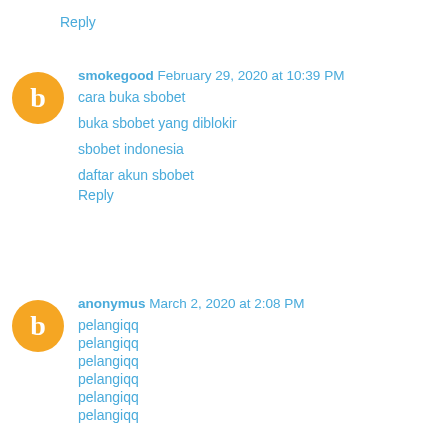Reply
smokegood February 29, 2020 at 10:39 PM
cara buka sbobet
buka sbobet yang diblokir
sbobet indonesia
daftar akun sbobet
Reply
anonymus March 2, 2020 at 2:08 PM
pelangiqq
pelangiqq
pelangiqq
pelangiqq
pelangiqq
pelangiqq